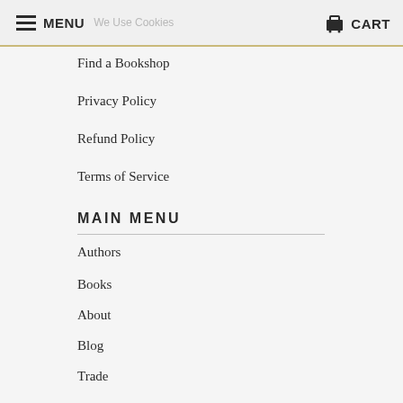MENU  We Use Cookies  CART
Find a Bookshop
Privacy Policy
Refund Policy
Terms of Service
MAIN MENU
Authors
Books
About
Blog
Trade
[Figure (illustration): Social media icons: Twitter bird, Facebook f, Instagram camera]
[Figure (logo): Partial logo at bottom of page, black curved shape]